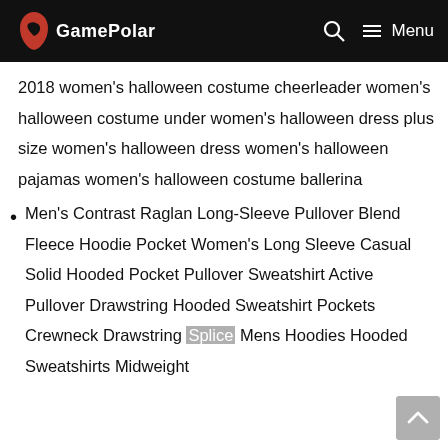GamePolar
2018 women’s halloween costume cheerleader women’s halloween costume under women’s halloween dress plus size women’s halloween dress women’s halloween pajamas women’s halloween costume ballerina
Men’s Contrast Raglan Long-Sleeve Pullover Blend Fleece Hoodie Pocket Women’s Long Sleeve Casual Solid Hooded Pocket Pullover Sweatshirt Active Pullover Drawstring Hooded Sweatshirt Pockets Crewneck Drawstring Splice Mens Hoodies Hooded Sweatshirts Midweight